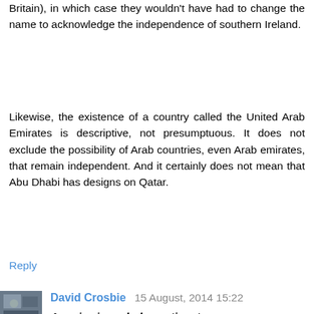Britain), in which case they wouldn't have had to change the name to acknowledge the independence of southern Ireland.
Likewise, the existence of a country called the United Arab Emirates is descriptive, not presumptuous. It does not exclude the possibility of Arab countries, even Arab emirates, that remain independent. And it certainly does not mean that Abu Dhabi has designs on Qatar.
Reply
David Crosbie  15 August, 2014 15:22
America is a whole continent
On the model of continents generally taught in English-speaking nations, America is two continents: North America and South America. (Lynne)
"America" is a region. Within that region are a number of states.(Ted)
Well, the truth is in there, but the terminology rather gets in